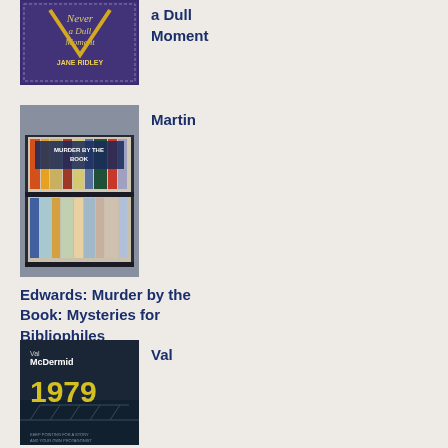[Figure (photo): Book cover: Never a Dull Moment by Jane Ridley, dark cover with gold script text]
a Dull Moment
[Figure (photo): Book cover: Murder by the Book: Mysteries for Bibliophiles edited by Martin Edwards, showing a bookshelf]
Martin
Edwards: Murder by the Book: Mysteries for Bibliophiles
[Figure (photo): Book cover: 1979 by Val McDermid, dark moody cover with bridge image]
Val